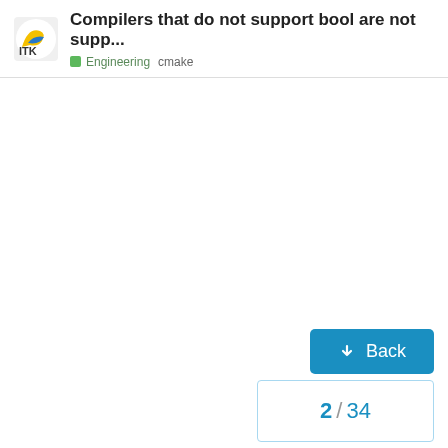Compilers that do not support bool are not supp... Engineering cmake
Back
2 / 34